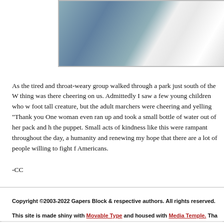[Figure (photo): Photograph showing marchers or protesters, partial view cropped at top of page, white fabric/sheets visible on right side]
As the tired and throat-weary group walked through a park just south of the W... thing was there cheering on us. Admittedly I saw a few young children who w... foot tall creature, but the adult marchers were cheering and yelling "Thank you... One woman even ran up and took a small bottle of water out of her pack and h... the puppet. Small acts of kindness like this were rampant throughout the day, a... humanity and renewing my hope that there are a lot of people willing to fight f... Americans.
-CC
Copyright ©2003-2022 Gapers Block & respective authors. All rights reserved. This site is made shiny with Movable Type and housed with Media Temple. Tha... Home | About Us | Advertise | Submissions | Shop | Top of Page